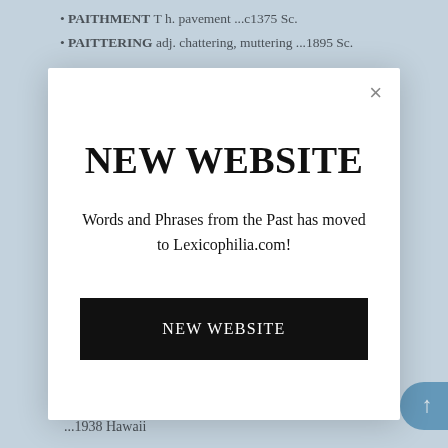PAITHMENT T h. pavement ...c1375 Sc.
PAITTERING adj. chattering, muttering ...1895 Sc.
NEW WEBSITE
Words and Phrases from the Past has moved to Lexicophilia.com!
NEW WEBSITE
PAKE adj. (sometimes derogatory) Chinese ...1938 Hawaii